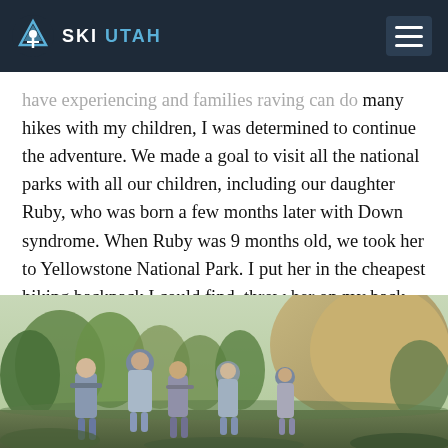SKI UTAH
have experiencing and families raving can do many hikes with my children, I was determined to continue the adventure. We made a goal to visit all the national parks with all our children, including our daughter Ruby, who was born a few months later with Down syndrome. When Ruby was 9 months old, we took her to Yellowstone National Park. I put her in the cheapest hiking backpack I could find, threw her on my back and had the most amazing feeling come over me. I was hooked.
[Figure (photo): Group of hikers including adults and children on a trail surrounded by trees and rocky cliffs, wearing hats and backpacks]